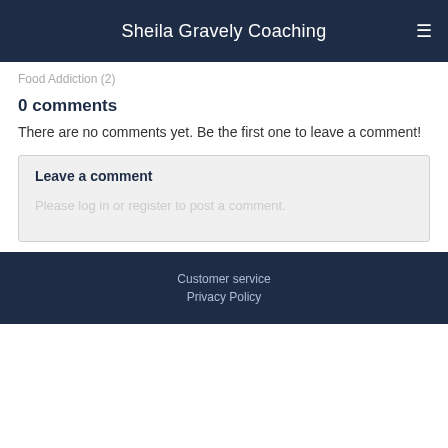Sheila Gravely Coaching
Food Addiction (2)
0 comments
There are no comments yet. Be the first one to leave a comment!
Leave a comment
Please log in or register to post a comment.
Customer service
Privacy Policy